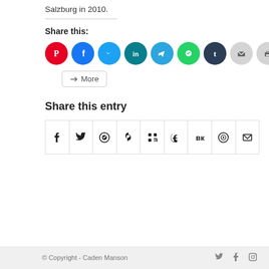Salzburg in 2010.
Share this:
[Figure (infographic): Row of circular social media share buttons: Pinterest (red), Facebook (blue), Twitter (light blue), LinkedIn (dark teal), Telegram (blue), WhatsApp (green), Tumblr (dark navy), Email (grey), Print (grey)]
More
Share this entry
[Figure (infographic): Row of square share icon cells: Facebook, Twitter, WhatsApp, Pinterest, LinkedIn, Tumblr, VK, Reddit, Email]
© Copyright - Caden Manson